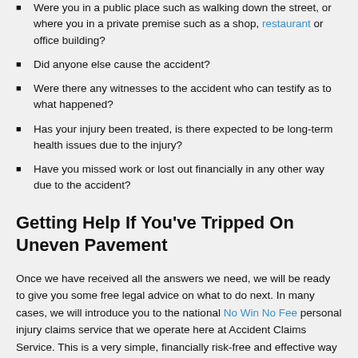Were you in a public place such as walking down the street, or where you in a private premise such as a shop, restaurant or office building?
Did anyone else cause the accident?
Were there any witnesses to the accident who can testify as to what happened?
Has your injury been treated, is there expected to be long-term health issues due to the injury?
Have you missed work or lost out financially in any other way due to the accident?
Getting Help If You've Tripped On Uneven Pavement
Once we have received all the answers we need, we will be ready to give you some free legal advice on what to do next. In many cases, we will introduce you to the national No Win No Fee personal injury claims service that we operate here at Accident Claims Service. This is a very simple, financially risk-free and effective way to claim compensation for an injury sustained due to a slip, trip or fall accident on a pavement